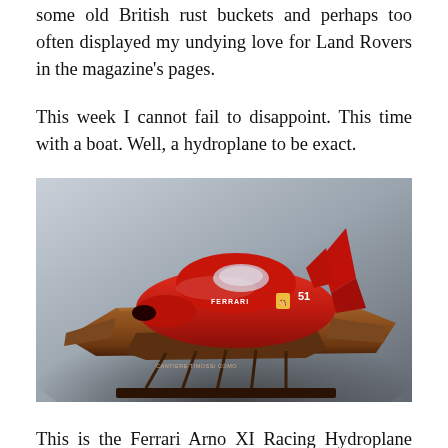some old British rust buckets and perhaps too often displayed my undying love for Land Rovers in the magazine's pages.
This week I cannot fail to disappoint. This time with a boat. Well, a hydroplane to be exact.
[Figure (photo): A red Ferrari Arno XI Racing Hydroplane model with a polished wooden hull, sitting on a display stand against a grey background. The red cockpit area bears the Ferrari logo and the number 51.]
This is the Ferrari Arno XI Racing Hydroplane and it is